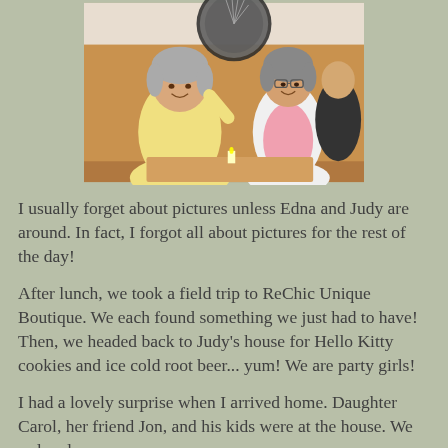[Figure (photo): Two women sitting together in a restaurant booth, smiling at the camera. One wears a large sombrero-style hat. They appear happy and are posing for the photo.]
I usually forget about pictures unless Edna and Judy are around. In fact, I forgot all about pictures for the rest of the day!
After lunch, we took a field trip to ReChic Unique Boutique. We each found something we just had to have! Then, we headed back to Judy's house for Hello Kitty cookies and ice cold root beer... yum! We are party girls!
I had a lovely surprise when I arrived home. Daughter Carol, her friend Jon, and his kids were at the house. We ordered pizza and had food, drinks, and conversation!! Stayed late...